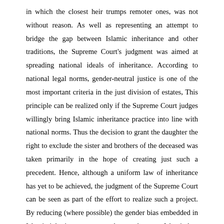in which the closest heir trumps remoter ones, was not without reason. As well as representing an attempt to bridge the gap between Islamic inheritance and other traditions, the Supreme Court's judgment was aimed at spreading national ideals of inheritance. According to national legal norms, gender-neutral justice is one of the most important criteria in the just division of estates, This principle can be realized only if the Supreme Court judges willingly bring Islamic inheritance practice into line with national norms. Thus the decision to grant the daughter the right to exclude the sister and brothers of the deceased was taken primarily in the hope of creating just such a precedent. Hence, although a uniform law of inheritance has yet to be achieved, the judgment of the Supreme Court can be seen as part of the effort to realize such a project. By reducing (where possible) the gender bias embedded in Islamic inheritance, a rapprochement between Islamic law and state legal norms became a more realistic goal.